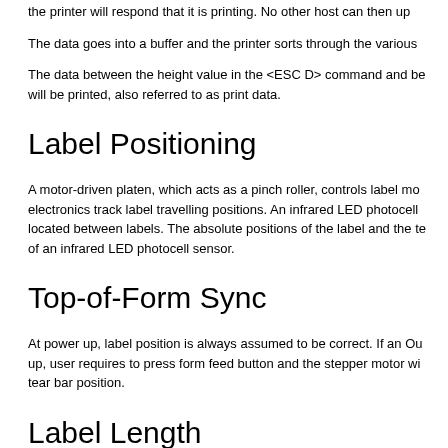the printer will respond that it is printing. No other host can then up...
The data goes into a buffer and the printer sorts through the various...
The data between the height value in the <ESC D> command and be... will be printed, also referred to as print data.
Label Positioning
A motor-driven platen, which acts as a pinch roller, controls label mo... electronics track label travelling positions. An infrared LED photocell located between labels. The absolute positions of the label and the te... of an infrared LED photocell sensor.
Top-of-Form Sync
At power up, label position is always assumed to be correct. If an Ou... up, user requires to press form feed button and the stepper motor wi... tear bar position.
Label Length